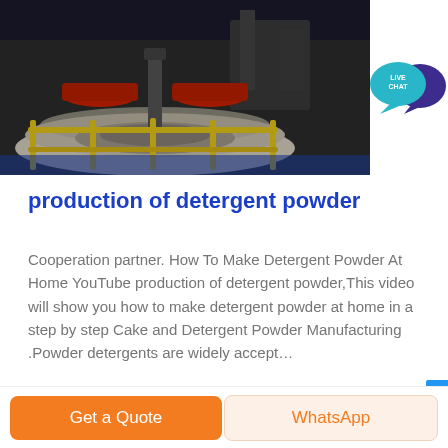[Figure (photo): Industrial factory interior showing large circular machinery/equipment with red components and yellow railings in a dark workshop setting]
[Figure (infographic): Live Chat bubble icon — teal speech bubble with 'LIVE CHAT' text and a dark purple speech bubble behind it]
production of detergent powder
Cooperation partner. How To Make Detergent Powder At Home YouTube production of detergent powder,This video will show you how to make detergent powder at home in a step by step Cake and Detergent Powder Manufacturing .Powder detergents are widely accept...
Get a Quote
WhatsApp